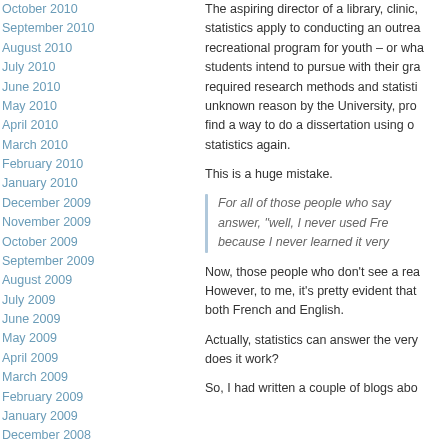October 2010
September 2010
August 2010
July 2010
June 2010
May 2010
April 2010
March 2010
February 2010
January 2010
December 2009
November 2009
October 2009
September 2009
August 2009
July 2009
June 2009
May 2009
April 2009
March 2009
February 2009
January 2009
December 2008
October 2008
September 2008
August 2008
July 2008
The aspiring director of a library, clinic, statistics apply to conducting an outrea recreational program for youth – or wha students intend to pursue with their gra required research methods and statisti unknown reason by the University, pro find a way to do a dissertation using o statistics again.
This is a huge mistake.
For all of those people who say answer, "well, I never used Fre because I never learned it very
Now, those people who don't see a rea However, to me, it's pretty evident that both French and English.
Actually, statistics can answer the very does it work?
So, I had written a couple of blogs abo